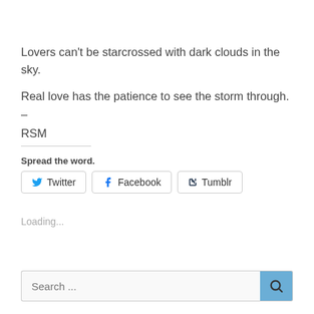Lovers can't be starcrossed with dark clouds in the sky.
Real love has the patience to see the storm through. – RSM
Spread the word.
[Figure (other): Social sharing buttons: Twitter, Facebook, Tumblr]
Loading...
[Figure (other): Search bar with search button]